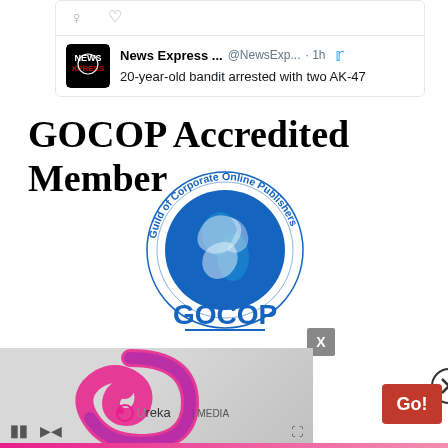[Figure (screenshot): Tweet card showing News Express account with text '20-year-old bandit arrested with two AK-47', with comment and heart icons above, Twitter bird icon, 1h ago timestamp]
GOCOP Accredited Member
[Figure (logo): GOCOP - Guild of Corporate Online Publishers circular logo with globe showing Africa, blue color]
[Figure (screenshot): Ureka Media video player with pink/purple swirl logo, play controls at bottom, close X button, and red Go! button overlay]